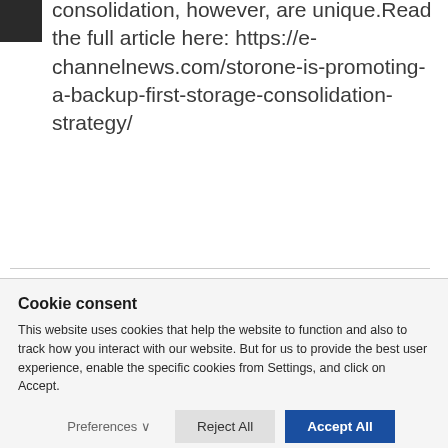consolidation, however, are unique.Read the full article here: https://e-channelnews.com/storone-is-promoting-a-backup-first-storage-consolidation-strategy/
Cookie consent
This website uses cookies that help the website to function and also to track how you interact with our website. But for us to provide the best user experience, enable the specific cookies from Settings, and click on Accept.